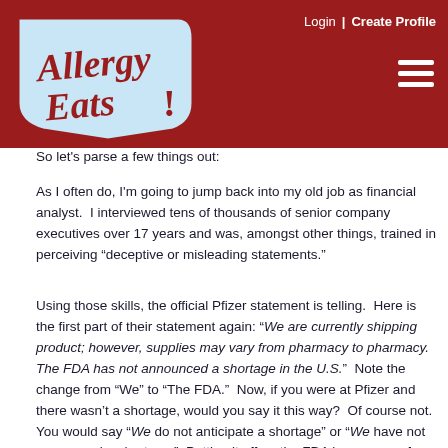[Figure (logo): AllergyEats logo — cursive red text on a light blue shield/tag shape with red border]
Login | Create Profile
So let's parse a few things out:
As I often do, I'm going to jump back into my old job as financial analyst.  I interviewed tens of thousands of senior company executives over 17 years and was, amongst other things, trained in perceiving "deceptive or misleading statements."
Using those skills, the official Pfizer statement is telling.  Here is the first part of their statement again: “We are currently shipping product; however, supplies may vary from pharmacy to pharmacy.  The FDA has not announced a shortage in the U.S.”  Note the change from “We” to “The FDA.”  Now, if you were at Pfizer and there wasn’t a shortage, would you say it this way?  Of course not.  You would say “We do not anticipate a shortage” or “We have not announced a shortage.”  Putting it off on the FDA is one way of avoiding answering the question.  The second interesting piece to me: the FDA “has not announced a shortage.”  Read this closely.  It very deliberately doesn’t say there isn’t a shortage, as one would say if they were certain there wasn’t; it